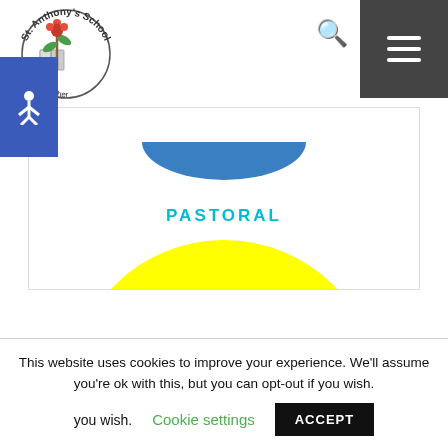[Figure (logo): St. Anthony's School logo with circular text, book, and flower/plant illustration]
[Figure (illustration): Blue semi-circle / bowl shape representing Pastoral icon]
PASTORAL
[Figure (illustration): Large bright yellow circle]
This website uses cookies to improve your experience. We'll assume you're ok with this, but you can opt-out if you wish.
Cookie settings
ACCEPT